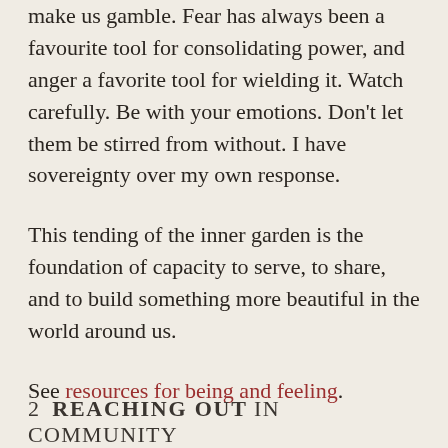make us gamble. Fear has always been a favourite tool for consolidating power, and anger a favorite tool for wielding it. Watch carefully. Be with your emotions. Don't let them be stirred from without. I have sovereignty over my own response.
This tending of the inner garden is the foundation of capacity to serve, to share, and to build something more beautiful in the world around us.
See resources for being and feeling.
2  REACHING OUT IN COMMUNITY